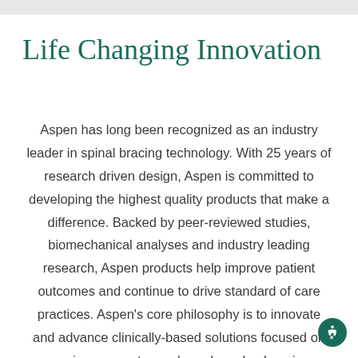Life Changing Innovation
Aspen has long been recognized as an industry leader in spinal bracing technology. With 25 years of research driven design, Aspen is committed to developing the highest quality products that make a difference. Backed by peer-reviewed studies, biomechanical analyses and industry leading research, Aspen products help improve patient outcomes and continue to drive standard of care practices. Aspen's core philosophy is to innovate and advance clinically-based solutions focused on serving our customers' needs and enhancing patients' lives.